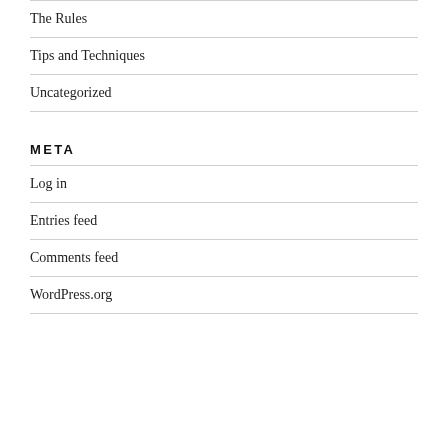The Rules
Tips and Techniques
Uncategorized
META
Log in
Entries feed
Comments feed
WordPress.org